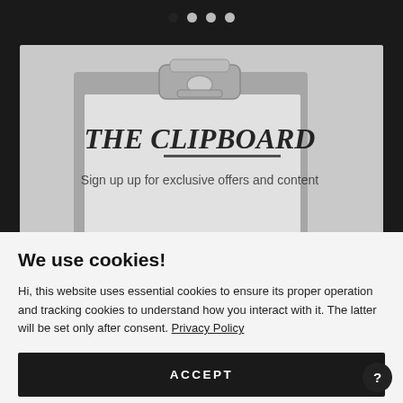[Figure (screenshot): Pagination dots row: one filled dark dot followed by three lighter/empty dots indicating slide 1 of 4]
[Figure (photo): A greyscale photograph of a clipboard with a metal clip at the top. Bold italic text 'THE CLIPBOARD' is overlaid on the image along with the subtitle 'Sign up up for exclusive offers and content'.]
We use cookies!
Hi, this website uses essential cookies to ensure its proper operation and tracking cookies to understand how you interact with it. The latter will be set only after consent. Privacy Policy
ACCEPT